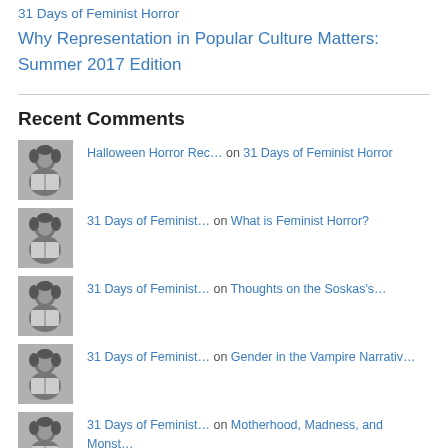31 Days of Feminist Horror
Why Representation in Popular Culture Matters: Summer 2017 Edition
Recent Comments
Halloween Horror Rec… on 31 Days of Feminist Horror
31 Days of Feminist… on What is Feminist Horror?
31 Days of Feminist… on Thoughts on the Soskas's…
31 Days of Feminist… on Gender in the Vampire Narrativ…
31 Days of Feminist… on Motherhood, Madness, and Monst…